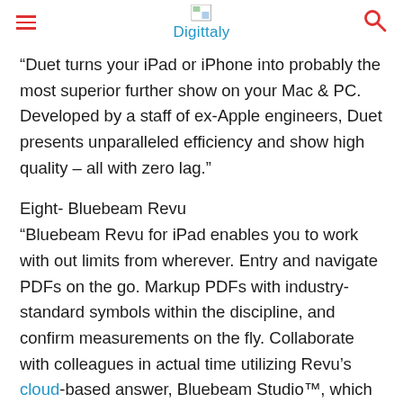Digittaly
“Duet turns your iPad or iPhone into probably the most superior further show on your Mac & PC. Developed by a staff of ex-Apple engineers, Duet presents unparalleled efficiency and show high quality – all with zero lag.”
Eight- Bluebeam Revu
“Bluebeam Revu for iPad enables you to work with out limits from wherever. Entry and navigate PDFs on the go. Markup PDFs with industry-standard symbols within the discipline, and confirm measurements on the fly. Collaborate with colleagues in actual time utilizing Revu’s cloud-based answer, Bluebeam Studio™, which immediately renders massive format single sheet PDFs so productiveness isn’t compromised. All it takes is a